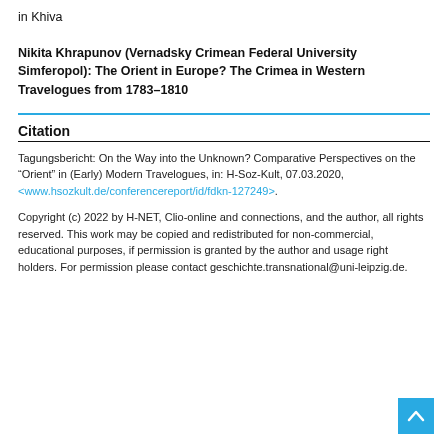in Khiva

Nikita Khrapunov (Vernadsky Crimean Federal University Simferopol): The Orient in Europe? The Crimea in Western Travelogues from 1783–1810
Citation
Tagungsbericht: On the Way into the Unknown? Comparative Perspectives on the “Orient” in (Early) Modern Travelogues, in: H-Soz-Kult, 07.03.2020, <www.hsozkult.de/conferencereport/id/fdkn-127249>.
Copyright (c) 2022 by H-NET, Clio-online and connections, and the author, all rights reserved. This work may be copied and redistributed for non-commercial, educational purposes, if permission is granted by the author and usage right holders. For permission please contact geschichte.transnational@uni-leipzig.de.